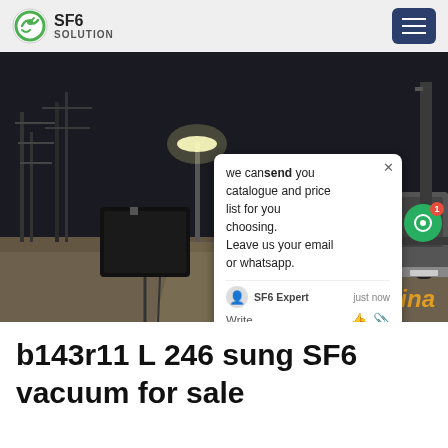SF6 SOLUTION
[Figure (photo): Nighttime photo of an electrical substation with a worker in blue protective suit and a truck visible. An SF6 gas equipment unit is in the foreground. A chat popup overlay reads: 'we can send you catalogue and price list for you choosing. Leave us your email or whatsapp.' with SF6 Expert just now. SF6China watermark in orange bottom right.]
b143r11 L 246 sung SF6 vacuum for sale